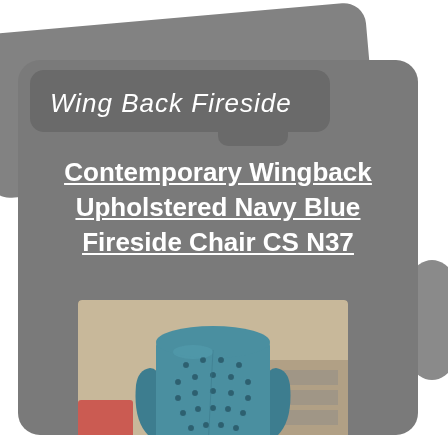Wing Back Fireside
Contemporary Wingback Upholstered Navy Blue Fireside Chair CS N37
[Figure (photo): Photo of a contemporary wingback fireside chair upholstered in teal/navy blue fabric with button tufting on the back, photographed in what appears to be a store setting]